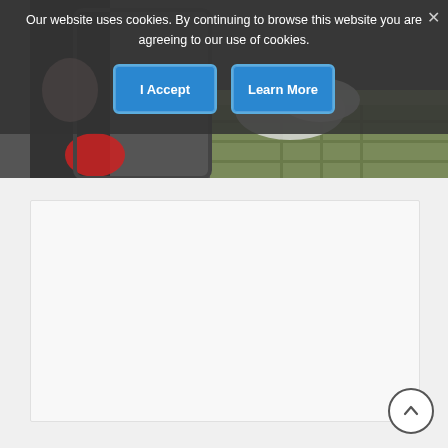[Figure (photo): Aerial photo visible in background behind cookie consent overlay — shows a person in aircraft looking out window, aerial farmland and clouds visible.]
Our website uses cookies. By continuing to browse this website you are agreeing to our use of cookies.
[Figure (screenshot): Cookie consent overlay with two buttons: 'I Accept' and 'Learn More', and a close (X) button in the top right corner.]
[Figure (other): White/light gray content box below the image area — empty content region.]
[Figure (other): Scroll-to-top circular button with upward chevron arrow, bottom-right corner.]